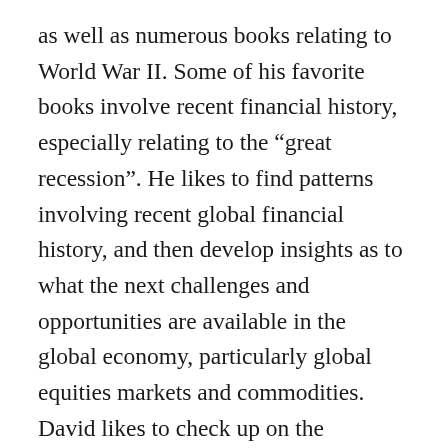as well as numerous books relating to World War II. Some of his favorite books involve recent financial history, especially relating to the “great recession”. He likes to find patterns involving recent global financial history, and then develop insights as to what the next challenges and opportunities are available in the global economy, particularly global equities markets and commodities. David likes to check up on the abnormal psychology of crowds as it particularly pertains to equities markets and commodities, as well as currencies and cryptocurrencies. He finds insights from such sources as “ Mad Money”, as well as “Seeking Alpha”, and “Bitcoin.com”, to be of significant value. He enjoys the theater of discussion